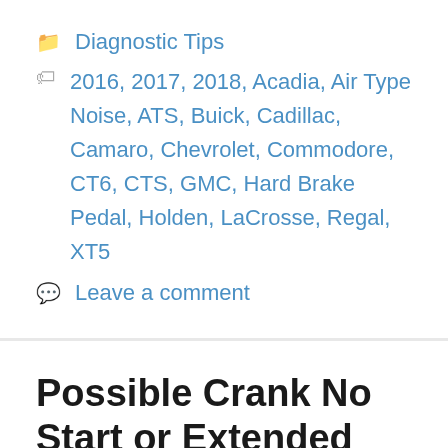Diagnostic Tips
2016, 2017, 2018, Acadia, Air Type Noise, ATS, Buick, Cadillac, Camaro, Chevrolet, Commodore, CT6, CTS, GMC, Hard Brake Pedal, Holden, LaCrosse, Regal, XT5
Leave a comment
Possible Crank No Start or Extended Crank with